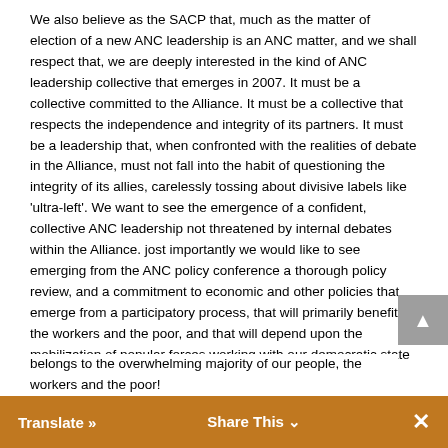We also believe as the SACP that, much as the matter of election of a new ANC leadership is an ANC matter, and we shall respect that, we are deeply interested in the kind of ANC leadership collective that emerges in 2007. It must be a collective committed to the Alliance. It must be a collective that respects the independence and integrity of its partners. It must be a leadership that, when confronted with the realities of debate in the Alliance, must not fall into the habit of questioning the integrity of its allies, carelessly tossing about divisive labels like 'ultra-left'. We want to see the emergence of a confident, collective ANC leadership not threatened by internal debates within the Alliance. jost importantly we would like to see emerging from the ANC policy conference a thorough policy review, and a commitment to economic and other policies that emerge from a participatory process, that will primarily benefit the workers and the poor, and that will depend upon the mobilization of popular forces working with our democratic state for their implementation.
Again the elite says we must get out of ANC 'succession battles', because it wants to be the only one that tells us who must be the next President of the Republic, because it wants to influence this process without the working class being a nuisance. We shall refuse to do this. This is our country, and it belongs to the overwhelming majority of our people, the workers and the poor!